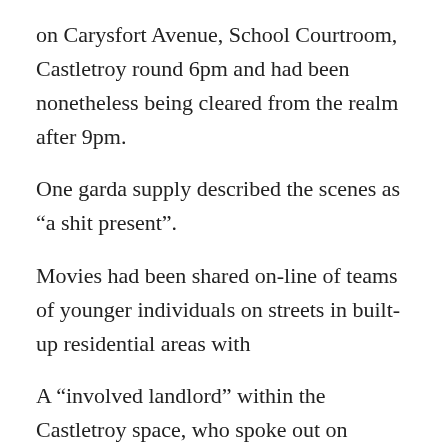on Carysfort Avenue, School Courtroom, Castletroy round 6pm and had been nonetheless being cleared from the realm after 9pm.
One garda supply described the scenes as “a shit present”.
Movies had been shared on-line of teams of younger individuals on streets in built-up residential areas with
A “involved landlord” within the Castletroy space, who spoke out on situation they weren't recognized, described the scenes as “stunning to witness, college students dancing on roofs, destruction of property, urination on the road and rampant public abuse of medicine and alcohol”.
“All whereas the nation is struggling the financial and